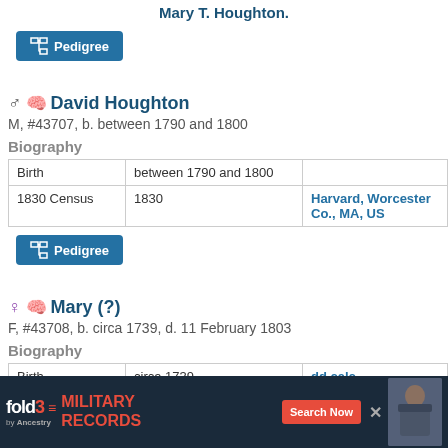Mary T. Houghton.
Pedigree (button)
David Houghton
M, #43707, b. between 1790 and 1800
Biography
|  |  |  |
| --- | --- | --- |
| Birth | between 1790 and 1800 |  |
| 1830 Census | 1830 | Harvard, Worcester Co., MA, US |
Pedigree (button)
Mary (?)
F, #43708, b. circa 1739, d. 11 February 1803
Biography
|  |  |  |
| --- | --- | --- |
| Birth | circa 1739 | dd calc |
| Marriage |  | Boxborough, Middles… |
| Death | Feb 11, 1803 | Boxborough, Middles… |
Family
[Figure (infographic): Fold3 Military Records advertisement banner with search now button and soldier image]